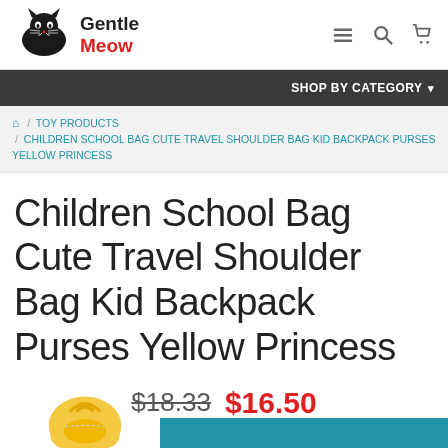[Figure (logo): Gentle Meow logo with black cat silhouette and red/black text]
SHOP BY CATEGORY
HOME / TOY PRODUCTS / CHILDREN SCHOOL BAG CUTE TRAVEL SHOULDER BAG KID BACKPACK PURSES YELLOW PRINCESS
Children School Bag Cute Travel Shoulder Bag Kid Backpack Purses Yellow Princess
$18.33 $16.50